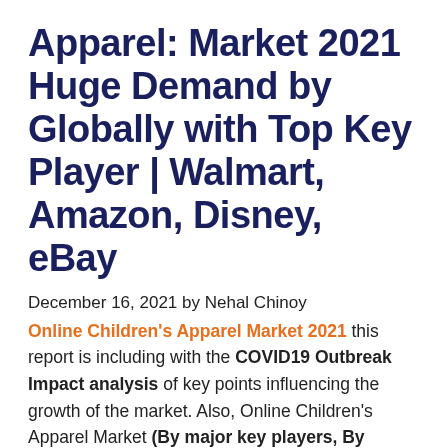Apparel: Market 2021 Huge Demand by Globally with Top Key Player | Walmart, Amazon, Disney, eBay
December 16, 2021 by Nehal Chinoy
Online Children's Apparel Market 2021 this report is including with the COVID19 Outbreak Impact analysis of key points influencing the growth of the market. Also, Online Children's Apparel Market (By major key players, By Types, By Applications, and Leading Regions)